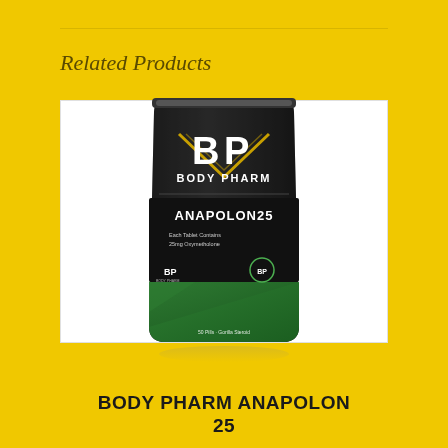Related Products
[Figure (photo): Black stand-up pouch bag product packaging for Body Pharm Anapolon 25. The bag is black with a BP logo (letters B and P in white) with a gold chevron design above BODY PHARM text. Below is a green and black label area with ANAPOLON25 text, small descriptive text reading 'Each Tablet Contains 25mg Oxymetholone', a BP logo, a circular BP stamp, and additional footer text.]
BODY PHARM ANAPOLON 25